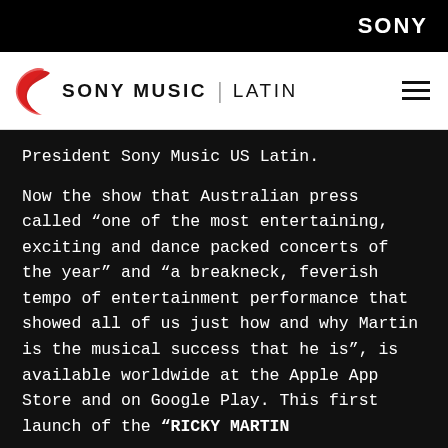SONY
[Figure (logo): Sony Music Latin logo with red swoosh icon, text SONY MUSIC | LATIN, and hamburger menu icon]
President Sony Music US Latin.
Now the show that Australian press called “one of the most entertaining, exciting and dance packed concerts of the year” and “a breakneck, feverish tempo of entertainment performance that showed all of us just how and why Martin is the musical success that he is”, is available worldwide at the Apple App Store and on Google Play. This first launch of the “RICKY MARTIN